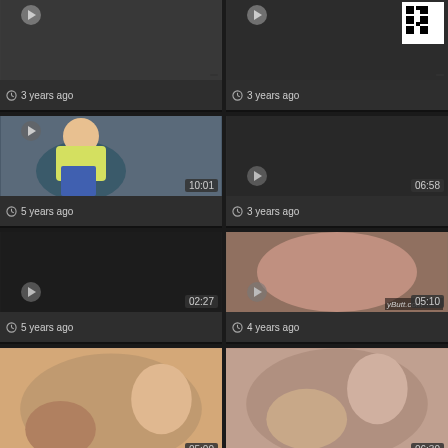[Figure (screenshot): Video thumbnail grid row 1 left - dark thumbnail with play icon, 3 years ago]
[Figure (screenshot): Video thumbnail grid row 1 right - dark thumbnail with play icon and QR code, 3 years ago]
[Figure (screenshot): Video thumbnail row 2 left - woman in yellow top and jeans, duration 10:01, 5 years ago]
[Figure (screenshot): Video thumbnail row 2 right - dark thumbnail, duration 06:58, 3 years ago]
[Figure (screenshot): Video thumbnail row 3 left - dark thumbnail, duration 02:27, 5 years ago]
[Figure (screenshot): Video thumbnail row 3 right - explicit content, duration 05:10, yButt.com watermark, 4 years ago]
[Figure (screenshot): Video thumbnail row 4 left - explicit content, duration 05:00]
[Figure (screenshot): Video thumbnail row 4 right - explicit content, duration 06:30]